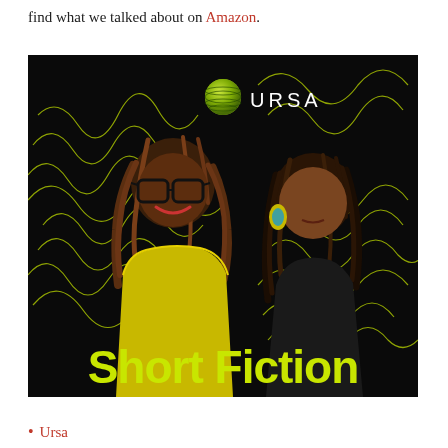find what we talked about on Amazon.
[Figure (photo): Promotional image for the Ursa Short Fiction podcast showing two women smiling against a black background with yellow-green wave line graphics. The Ursa logo (a green sphere with lines) and 'URSA' text appear at the top. Bold yellow-green text reads 'Short Fiction' at the bottom.]
Ursa